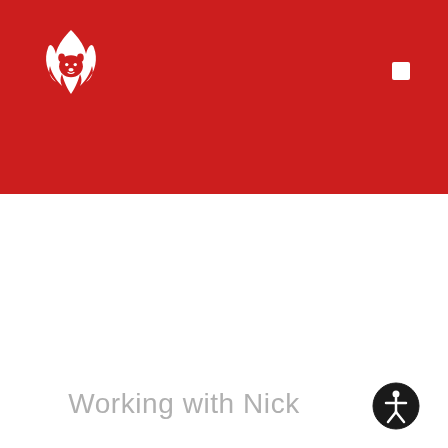[Figure (logo): Fiery lion head logo in white on red background — a stylized lion face inside a flame shape]
Working with Nick